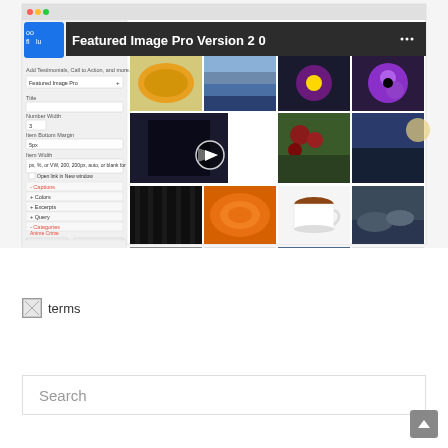[Figure (screenshot): Screenshot of a browser showing 'Featured Image Pro Version 2.0' plugin demo page with a video thumbnail and grid of photos including a maple leaf, landscape, flower, coffee cup, cat, and people, alongside a settings panel on the left.]
[Figure (other): Broken image icon labeled 'terms']
Search